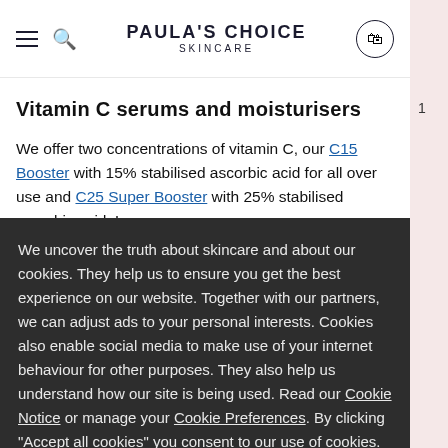PAULA'S CHOICE SKINCARE
Vitamin C serums and moisturisers
We offer two concentrations of vitamin C, our C15 Booster with 15% stabilised ascorbic acid for all over use and C25 Super Booster with 25% stabilised ascorbic acid. Lower
We uncover the truth about skincare and about our cookies. They help us to ensure you get the best experience on our website. Together with our partners, we can adjust ads to your personal interests. Cookies also enable social media to make use of your internet behaviour for other purposes. They also help us understand how our site is being used. Read our Cookie Notice or manage your Cookie Preferences. By clicking "Accept all cookies" you consent to our use of cookies.
I AGREE
Only accept required cookies